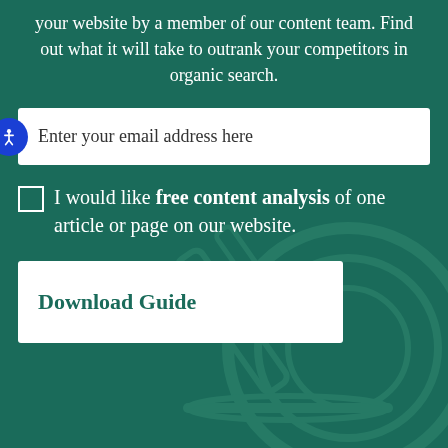Free content analysis of one article or page on your website by a member of our content team. Find out what it will take to outrank your competitors in organic search.
Enter your email address here
I would like free content analysis of one article or page on our website.
Download Guide